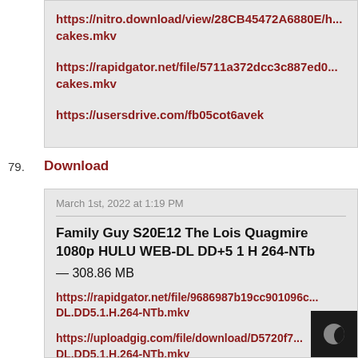https://nitro.download/view/28CB45472A6880E/... cakes.mkv
https://rapidgator.net/file/5711a372dcc3c887ed0... cakes.mkv
https://usersdrive.com/fb05cot6avek
79. Download
March 1st, 2022 at 1:19 PM
Family Guy S20E12 The Lois Quagmire 1080p HULU WEB-DL DD+5 1 H 264-NTb
— 308.86 MB
https://rapidgator.net/file/9686987b19cc901096c... DL.DD5.1.H.264-NTb.mkv
https://uploadgig.com/file/download/D5720f7... DL.DD5.1.H.264-NTb.mkv